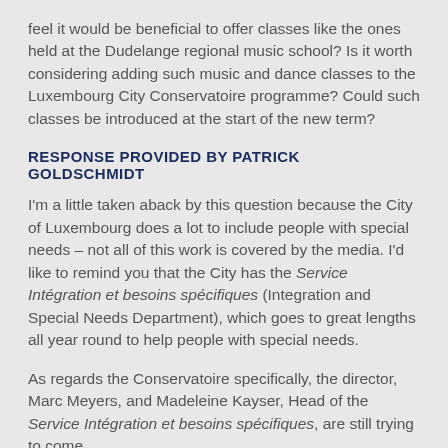feel it would be beneficial to offer classes like the ones held at the Dudelange regional music school? Is it worth considering adding such music and dance classes to the Luxembourg City Conservatoire programme? Could such classes be introduced at the start of the new term?
RESPONSE PROVIDED BY PATRICK GOLDSCHMIDT
I'm a little taken aback by this question because the City of Luxembourg does a lot to include people with special needs – not all of this work is covered by the media. I'd like to remind you that the City has the Service Intégration et besoins spécifiques (Integration and Special Needs Department), which goes to great lengths all year round to help people with special needs.
As regards the Conservatoire specifically, the director, Marc Meyers, and Madeleine Kayser, Head of the Service Intégration et besoins spécifiques, are still trying to come